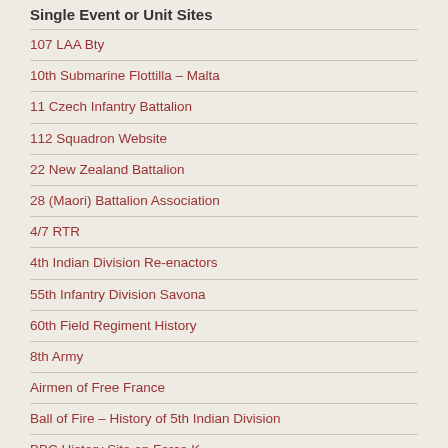Single Event or Unit Sites
107 LAA Bty
10th Submarine Flottilla – Malta
11 Czech Infantry Battalion
112 Squadron Website
22 New Zealand Battalion
28 (Maori) Battalion Association
4/7 RTR
4th Indian Division Re-enactors
55th Infantry Division Savona
60th Field Regiment History
8th Army
Airmen of Free France
Ball of Fire – History of 5th Indian Division
BBC History Site on Force K